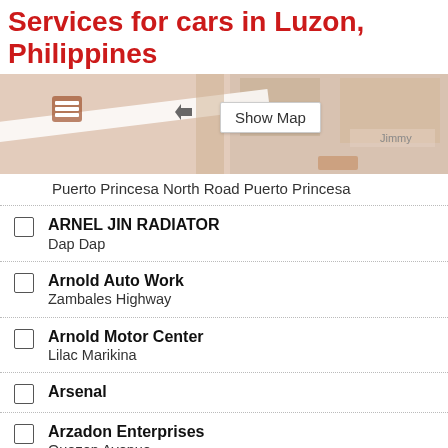Services for cars in Luzon, Philippines
[Figure (map): Map view of Luzon, Philippines showing local roads and blocks, with a 'Show Map' button overlay]
Puerto Princesa North Road Puerto Princesa
ARNEL JIN RADIATOR
Dap Dap
Arnold Auto Work
Zambales Highway
Arnold Motor Center
Lilac Marikina
Arsenal
Arzadon Enterprises
Quezon Avenue
Ascor Motor Works
C. Lawis Extension Antipolo
ASD Battery and Vulcanizing Shop
Asia Motor Works
Kakua Rotay Street